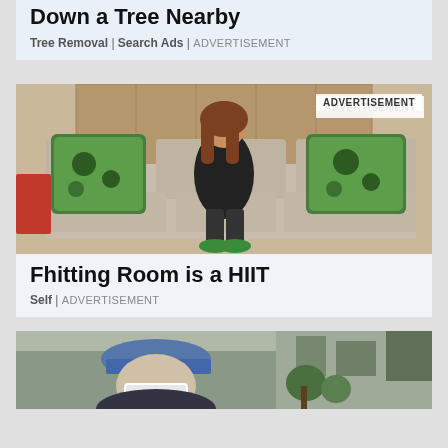Down a Tree Nearby
Tree Removal | Search Ads | ADVERTISEMENT
[Figure (photo): Woman with long brown hair sitting on a beige sectional sofa with green patterned throw pillows, wearing a black top, dark jeans, and green Nike sneakers. ADVERTISEMENT badge in top right.]
Fhitting Room is a HIIT
Self | ADVERTISEMENT
[Figure (photo): Person wearing a blue cap and white face mask outdoors on a street with greenery and buildings in background.]